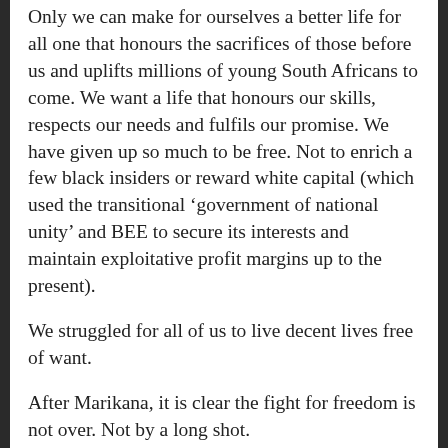Only we can make for ourselves a better life for all one that honours the sacrifices of those before us and uplifts millions of young South Africans to come. We want a life that honours our skills, respects our needs and fulfils our promise. We have given up so much to be free. Not to enrich a few black insiders or reward white capital (which used the transitional ‘government of national unity’ and BEE to secure its interests and maintain exploitative profit margins up to the present).
We struggled for all of us to live decent lives free of want.
After Marikana, it is clear the fight for freedom is not over. Not by a long shot.
No more leaving it all up to our callously betraying representatives. It is time to march and agitate. To drop the façade of compliance. Ramp up struggles. Live and shop differently. Seek out opportunities to join with others to talk through alternatives. To re-think what it is we want as citizens of this country. To talk about VAT and taxes. About where public money